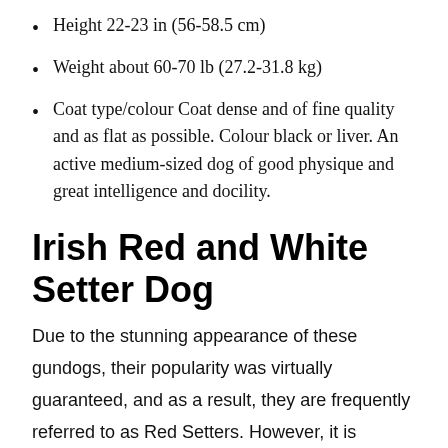Height 22-23 in (56-58.5 cm)
Weight about 60-70 lb (27.2-31.8 kg)
Coat type/colour Coat dense and of fine quality and as flat as possible. Colour black or liver. An active medium-sized dog of good physique and great intelligence and docility.
Irish Red and White Setter Dog
Due to the stunning appearance of these gundogs, their popularity was virtually guaranteed, and as a result, they are frequently referred to as Red Setters. However, it is important to keep in mind that Irish Setters require a significant amount of physical activity, and if they are unable to get it, they are likely